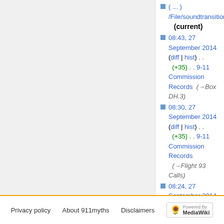(current) — top item truncated link
08:43, 27 September 2014 (diff | hist) . . (+35) . . 9-11 Commission Records (→Box DH.3)
08:30, 27 September 2014 (diff | hist) . . (+35) . . 9-11 Commission Records (→Flight 93 Calls)
08:24, 27 September 2014 (diff | hist) . . (-2) . . Losing Flight 77 (→The NORAD tapes) (current)
08:23, 27 September 2014 (diff | hist) . . (-42) . . Losing Flight 77 (→The NORAD tapes)
08:23, 27 September 2014 (diff | hist) . . (-1) . . Losing Flight 77 (→FAA Chronology)
(newest | oldest) View (newer 50 | older 50) (20 | 50 | 100 | 250 | 500)
Privacy policy   About 911myths   Disclaimers   Powered by MediaWiki